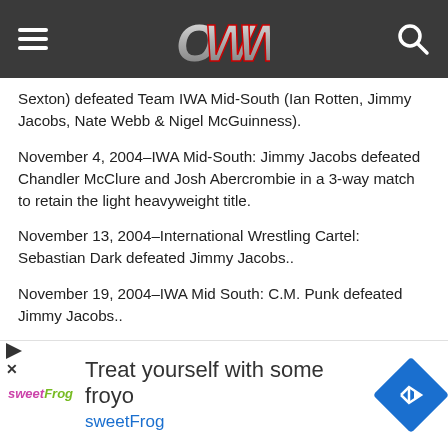OWW (header navigation bar with logo and search)
Sexton) defeated Team IWA Mid-South (Ian Rotten, Jimmy Jacobs, Nate Webb & Nigel McGuinness).
November 4, 2004–IWA Mid-South: Jimmy Jacobs defeated Chandler McClure and Josh Abercrombie in a 3-way match to retain the light heavyweight title.
November 13, 2004–International Wrestling Cartel: Sebastian Dark defeated Jimmy Jacobs..
November 19, 2004–IWA Mid South: C.M. Punk defeated Jimmy Jacobs..
November 20, 2004–IWA Mid South: Jimmy Jacobs defeated Delirious to retain the Light Heavyweight title..
[Figure (infographic): Advertisement banner: 'Treat yourself with some froyo' sweetFrog with logo and navigation icon]